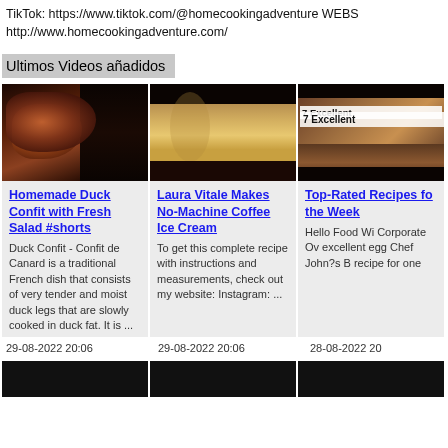TikTok: https://www.tiktok.com/@homecookingadventure WEBS http://www.homecookingadventure.com/
Ultimos Videos añadidos
[Figure (photo): Thumbnail of Homemade Duck Confit with Fresh Salad #shorts]
Homemade Duck Confit with Fresh Salad #shorts
Duck Confit - Confit de Canard is a traditional French dish that consists of very tender and moist duck legs that are slowly cooked in duck fat. It is ...
[Figure (photo): Thumbnail of Laura Vitale Makes No-Machine Coffee Ice Cream]
Laura Vitale Makes No-Machine Coffee Ice Cream
To get this complete recipe with instructions and measurements, check out my website: Instagram: ...
[Figure (photo): Thumbnail of Top-Rated Recipes for the Week]
Top-Rated Recipes for the Week
Hello Food Wi Corporate Ov excellent egg Chef John?s B recipe for one
29-08-2022 20:06
29-08-2022 20:06
28-08-2022 20